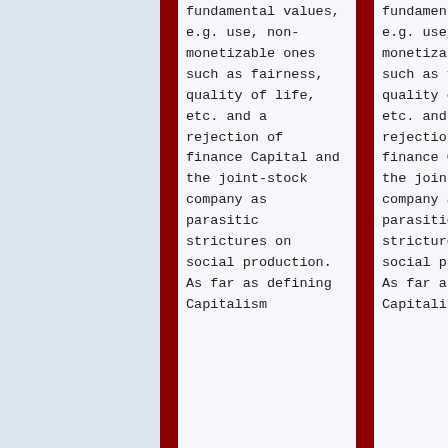fundamental values, e.g. use, non-monetizable ones such as fairness, quality of life, etc. and a rejection of finance Capital and the joint-stock company as parasitic strictures on social production. As far as defining Capitalism
fundamental values, e.g. use, non-monetizable ones such as fairness, quality of life, etc. and a rejection of finance Capital and the joint-stock company as parasitic strictures on social production. As far as defining Capitalism